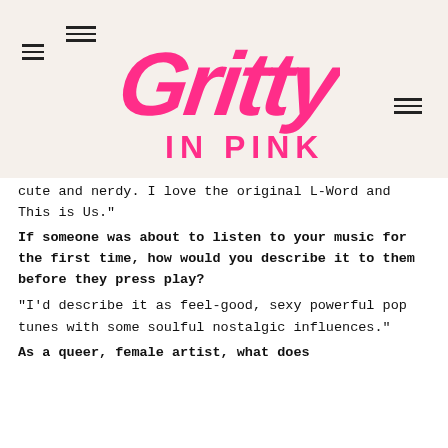[Figure (logo): Gritty In Pink logo in hot pink brush-style lettering on a beige/cream background with hamburger menu icons]
cute and nerdy. I love the original L-Word and This is Us."
If someone was about to listen to your music for the first time, how would you describe it to them before they press play?
"I'd describe it as feel-good, sexy powerful pop tunes with some soulful nostalgic influences."
As a queer, female artist, what does